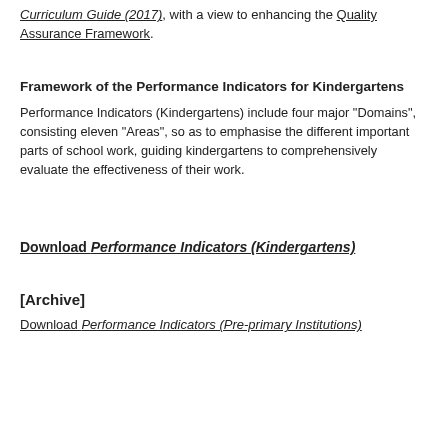Curriculum Guide (2017), with a view to enhancing the Quality Assurance Framework.
Framework of the Performance Indicators for Kindergartens
Performance Indicators (Kindergartens) include four major "Domains", consisting eleven "Areas", so as to emphasise the different important parts of school work, guiding kindergartens to comprehensively evaluate the effectiveness of their work.
Download Performance Indicators (Kindergartens)
[Archive]
Download Performance Indicators (Pre-primary Institutions)